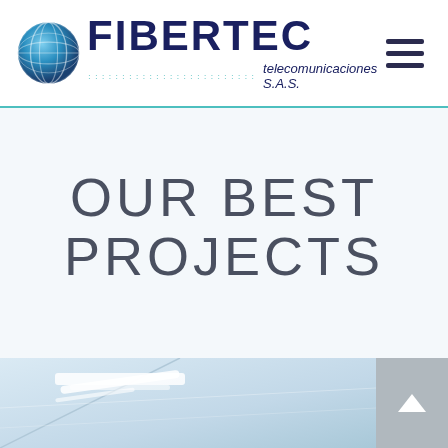[Figure (logo): FIBERTEC telecomunicaciones S.A.S. logo with globe icon and company name]
OUR BEST PROJECTS
[Figure (photo): Interior office/ceiling photo showing light fixtures, with a scroll-up arrow button on the right]